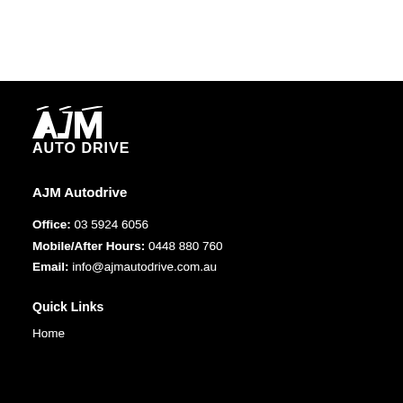[Figure (logo): AJM Auto Drive logo: stylized italic letters AJM above bold text AUTO DRIVE, white on black background]
AJM Autodrive
Office: 03 5924 6056
Mobile/After Hours: 0448 880 760
Email: info@ajmautodrive.com.au
Quick Links
Home